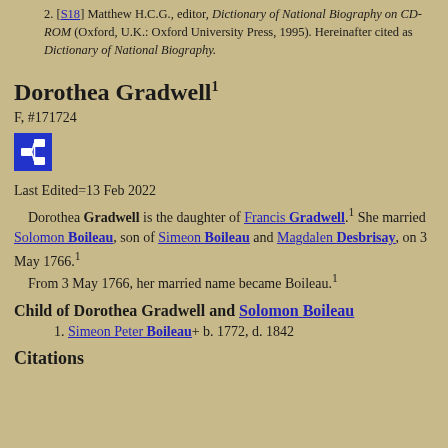[S18] Matthew H.C.G., editor, Dictionary of National Biography on CD-ROM (Oxford, U.K.: Oxford University Press, 1995). Hereinafter cited as Dictionary of National Biography.
Dorothea Gradwell
F, #171724
Last Edited=13 Feb 2022
Dorothea Gradwell is the daughter of Francis Gradwell. She married Solomon Boileau, son of Simeon Boileau and Magdalen Desbrisay, on 3 May 1766. From 3 May 1766, her married name became Boileau.
Child of Dorothea Gradwell and Solomon Boileau
Simeon Peter Boileau+ b. 1772, d. 1842
Citations